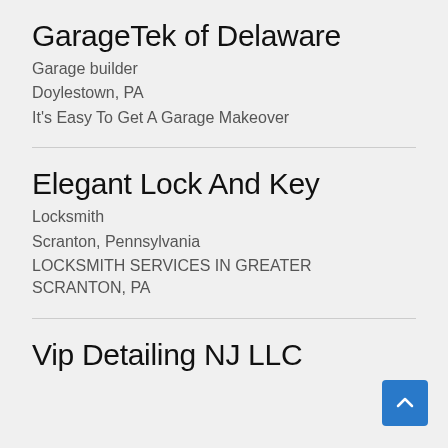GarageTek of Delaware
Garage builder
Doylestown, PA
It's Easy To Get A Garage Makeover
Elegant Lock And Key
Locksmith
Scranton, Pennsylvania
LOCKSMITH SERVICES IN GREATER SCRANTON, PA
Vip Detailing NJ LLC